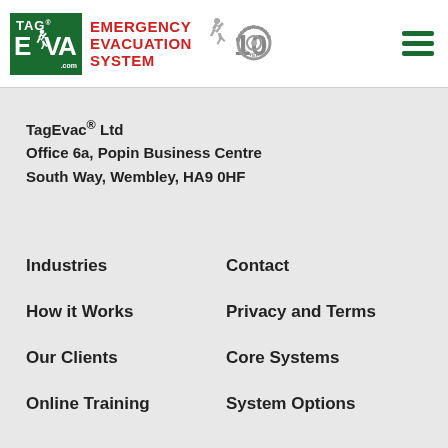[Figure (logo): TagEvac Emergency Evacuation System logo with green box containing running person icon, red text 'EMERGENCY EVACUATION SYSTEM', celebrating 10 years badge, and green hamburger menu icon]
TagEvac® Ltd
Office 6a, Popin Business Centre
South Way, Wembley, HA9 0HF
Industries
Contact
How it Works
Privacy and Terms
Our Clients
Core Systems
Online Training
System Options